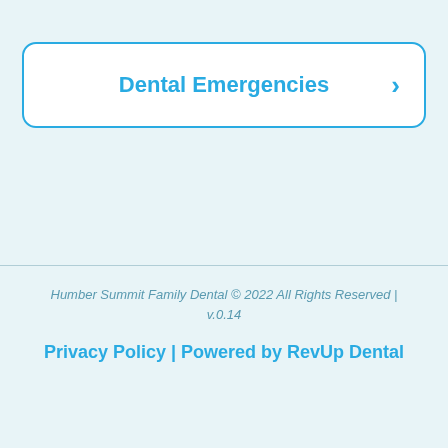Dental Emergencies
Humber Summit Family Dental © 2022 All Rights Reserved | v.0.14
Privacy Policy | Powered by RevUp Dental